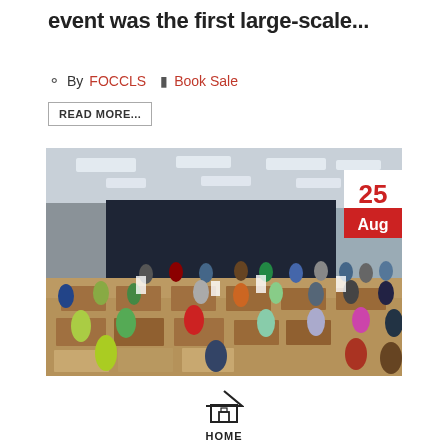event was the first large-scale...
By FOCCLS  Book Sale
READ MORE...
[Figure (photo): Indoor book sale event with many people browsing through tables of books in a large hall. A red date badge shows '25 Aug' in the upper right corner of the photo.]
HOME